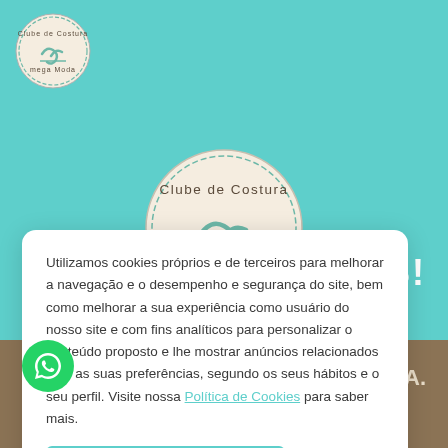[Figure (logo): Small circular Clube de Costura Mega Moda logo in top-left header]
[Figure (logo): Large circular Clube de Costura Mega Moda logo centered in teal area]
Utilizamos cookies próprios e de terceiros para melhorar a navegação e o desempenho e segurança do site, bem como melhorar a sua experiência como usuário do nosso site e com fins analíticos para personalizar o conteúdo proposto e lhe mostrar anúncios relacionados com as suas preferências, segundo os seus hábitos e o seu perfil. Visite nossa Política de Cookies para saber mais.
CONTINUAR E FECHAR